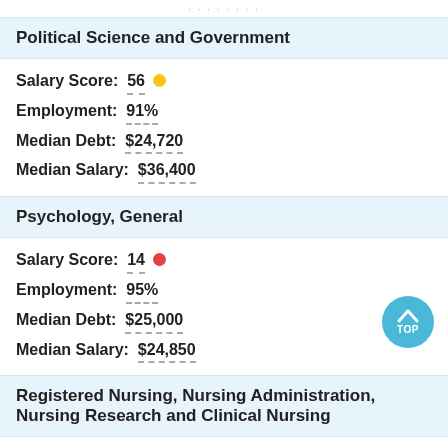Political Science and Government
Salary Score: 56
Employment: 91%
Median Debt: $24,720
Median Salary: $36,400
Psychology, General
Salary Score: 14
Employment: 95%
Median Debt: $25,000
Median Salary: $24,850
Registered Nursing, Nursing Administration, Nursing Research and Clinical Nursing
Salary Score: 28
Employment: 100%